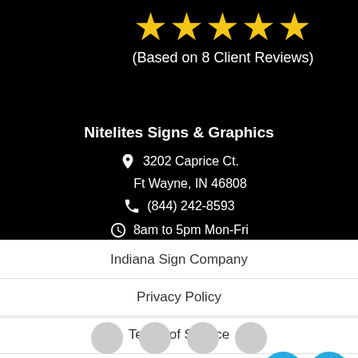[Figure (screenshot): Menu hamburger button with three blue horizontal lines and MENU label on white background]
[Figure (infographic): Five gold star rating with text '(Based on 8 Client Reviews)' on black background]
Nitelites Signs & Graphics
3202 Caprice Ct.
Ft Wayne, IN 46808
(844) 242-8593
8am to 5pm Mon-Fri
Indiana Sign Company
Privacy Policy
Terms of Service
Contact Us